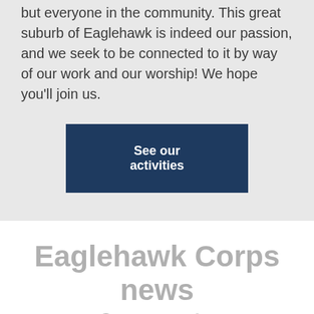but everyone in the community. This great suburb of Eaglehawk is indeed our passion, and we seek to be connected to it by way of our work and our worship! We hope you'll join us.
See our activities
Eaglehawk Corps news & events